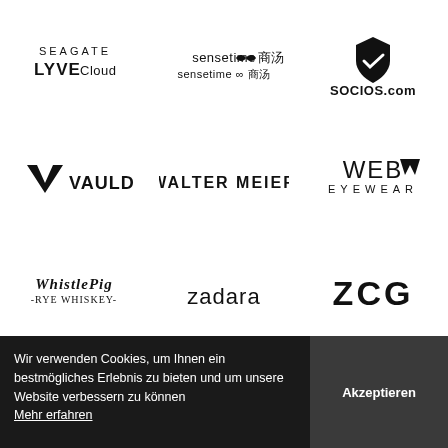[Figure (logo): Seagate LYVE Cloud logo]
[Figure (logo): SenseTime logo with infinity symbol and Chinese characters]
[Figure (logo): Socios.com logo with shield icon]
[Figure (logo): Vauld logo with V chevron icon]
[Figure (logo): Walter Meier logo]
[Figure (logo): Web Eyewear logo]
[Figure (logo): WhistlePig Rye Whiskey logo]
[Figure (logo): zadara logo]
[Figure (logo): ZCG logo]
Wir verwenden Cookies, um Ihnen ein bestmögliches Erlebnis zu bieten und um unsere Website verbessern zu können
Mehr erfahren
Akzeptieren